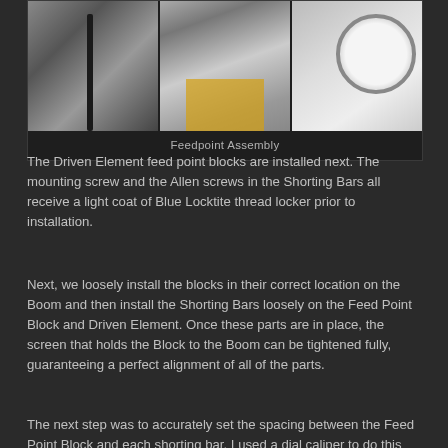[Figure (photo): Three-panel photo strip showing feedpoint assembly: left panel shows a vertical black cable/wire assembly on a stand in a workshop, middle panel shows calipers measuring a component with a yellow object in background, right panel shows a dial gauge/indicator measuring instrument close-up.]
Feedpoint Assembly
The Driven Element feed point blocks are installed next. The mounting screw and the Allen screws in the Shorting Bars all receive a light coat of Blue Locktite thread locker prior to installation.
Next, we loosely install the blocks in their correct location on the Boom and then install the Shorting Bars loosely on the Feed Point Block and Driven Element. Once these parts are in place, the screen that holds the Block to the Boom can be tightened fully, guaranteeing a perfect alignment of all of the parts.
The next step was to accurately set the spacing between the Feed Point Block and each shorting bar. I used a dial caliper to do this